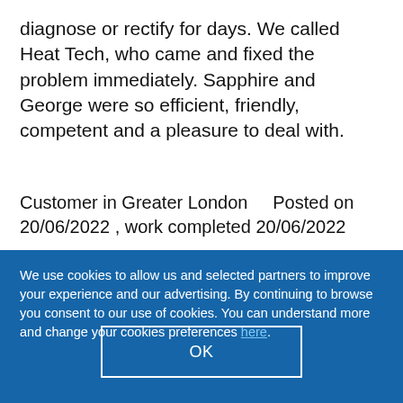diagnose or rectify for days. We called Heat Tech, who came and fixed the problem immediately. Sapphire and George were so efficient, friendly, competent and a pleasure to deal with.
Customer in Greater London    Posted on 20/06/2022 , work completed 20/06/2022
We use cookies to allow us and selected partners to improve your experience and our advertising. By continuing to browse you consent to our use of cookies. You can understand more and change your cookies preferences here.
OK